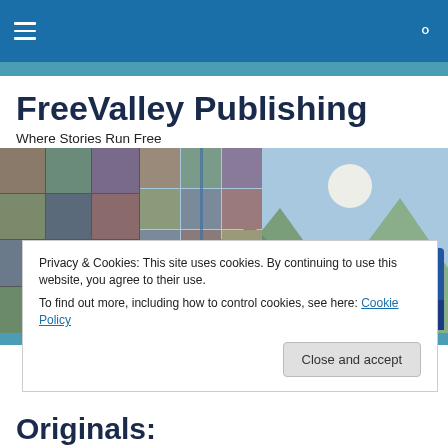FreeValley Publishing navigation bar with hamburger menu and search icon
FreeValley Publishing
Where Stories Run Free
[Figure (photo): Hero banner image showing a collage of author portraits on the left, a mountain landscape with moon in the center, and FVP Books logo on the right]
Privacy & Cookies: This site uses cookies. By continuing to use this website, you agree to their use. To find out more, including how to control cookies, see here: Cookie Policy
Close and accept
Originals: